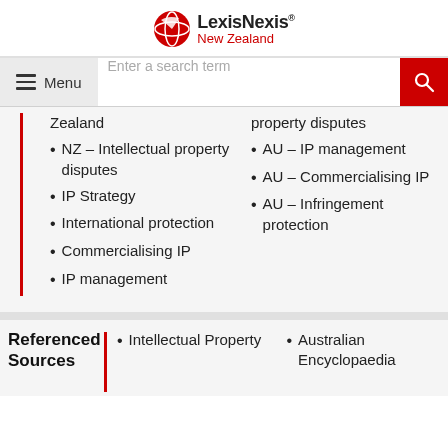[Figure (logo): LexisNexis New Zealand logo with red globe/bird icon]
Menu | Enter a search term [search button]
Zealand
NZ – Intellectual property disputes
IP Strategy
International protection
Commercialising IP
IP management
property disputes
AU – IP management
AU – Commercialising IP
AU – Infringement protection
Referenced Sources
Intellectual Property
Australian Encyclopaedia